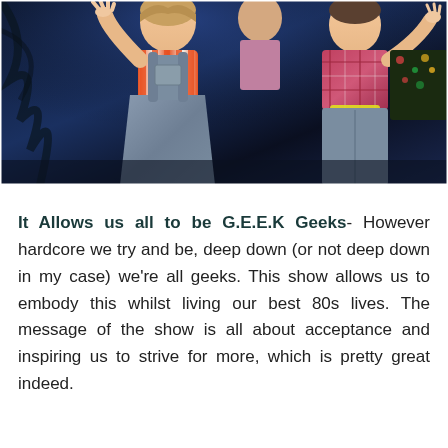[Figure (photo): Theatrical stage photo showing performers in 80s costumes. The left performer wears denim overalls over an orange and white striped shirt and is making a hand gesture. The right performer wears a plaid shirt and colorful accessories. Dark blue stage lighting in the background.]
It Allows us all to be G.E.E.K Geeks- However hardcore we try and be, deep down (or not deep down in my case) we're all geeks. This show allows us to embody this whilst living our best 80s lives. The message of the show is all about acceptance and inspiring us to strive for more, which is pretty great indeed.